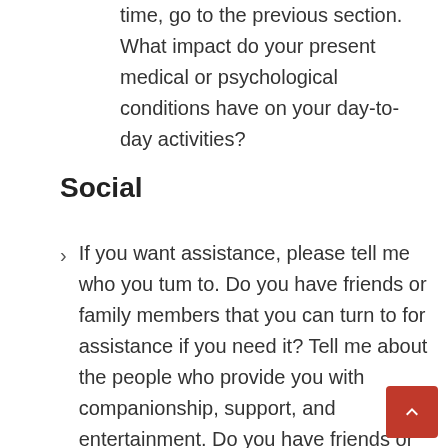time, go to the previous section. What impact do your present medical or psychological conditions have on your day-to-day activities?
Social
If you want assistance, please tell me who you tum to. Do you have friends or family members that you can turn to for assistance if you need it? Tell me about the people who provide you with companionship, support, and entertainment. Do you have friends or family members on whom you can